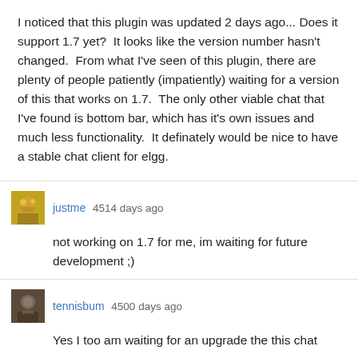I noticed that this plugin was updated 2 days ago... Does it support 1.7 yet?  It looks like the version number hasn't changed.  From what I've seen of this plugin, there are plenty of people patiently (impatiently) waiting for a version of this that works on 1.7.  The only other viable chat that I've found is bottom bar, which has it's own issues and much less functionality.  It definately would be nice to have a stable chat client for elgg.
justme 4514 days ago
not working on 1.7 for me, im waiting for future development ;)
tennisbum 4500 days ago
Yes I too am waiting for an upgrade the this chat